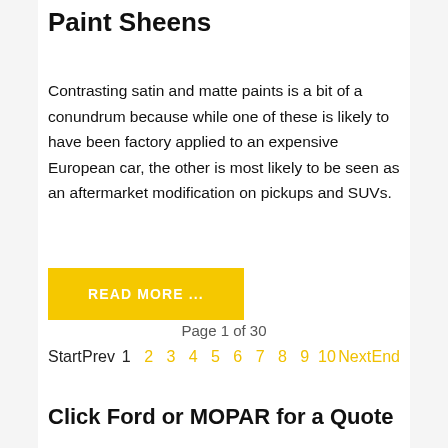Paint Sheens
Contrasting satin and matte paints is a bit of a conundrum because while one of these is likely to have been factory applied to an expensive European car, the other is most likely to be seen as an aftermarket modification on pickups and SUVs.
[Figure (other): Yellow READ MORE ... button]
Page 1 of 30
Start  Prev  1  2  3  4  5  6  7  8  9  10  Next  End
Click Ford or MOPAR for a Quote